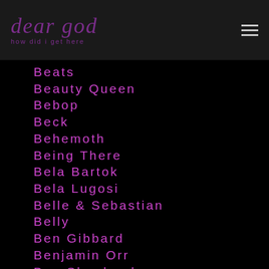dear god
Beats
Beauty Queen
Bebop
Beck
Behemoth
Being There
Bela Bartok
Bela Lugosi
Belle & Sebastian
Belly
Ben Gibbard
Benjamin Orr
Ben Shepherd
Ben Stiller
Ben Thatcher
Bernard Edwards